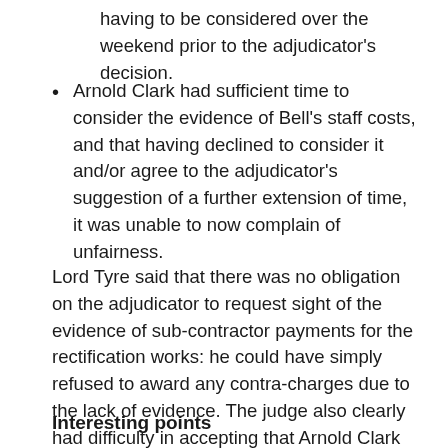having to be considered over the weekend prior to the adjudicator's decision.
Arnold Clark had sufficient time to consider the evidence of Bell's staff costs, and that having declined to consider it and/or agree to the adjudicator's suggestion of a further extension of time, it was unable to now complain of unfairness.
Lord Tyre said that there was no obligation on the adjudicator to request sight of the evidence of sub-contractor payments for the rectification works: he could have simply refused to award any contra-charges due to the lack of evidence. The judge also clearly had difficulty in accepting that Arnold Clark could raise any complaints concerning the lack of time given to provide the evidence when the adjudicator had suggested extending the date for his decision and Bell had agreed to this.
Interesting points